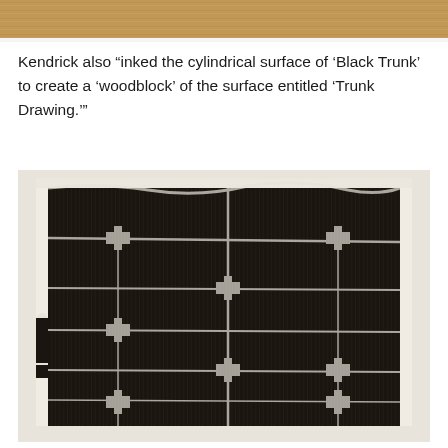[Figure (photo): Partial top crop of a photograph showing a wooden surface or floor]
Kendrick also “inked the cylindrical surface of ‘Black Trunk’ to create a ‘woodblock’ of the surface entitled ‘Trunk Drawing.’”
[Figure (photo): A large black and white woodblock print titled 'Trunk Drawing' showing the inked cylindrical surface of 'Black Trunk', displaying a grid-like pattern of dark wood grain textures with white lines forming irregular rectangular sections and cross/hourglass shaped connectors between the sections, laid out flat on a light surface.]